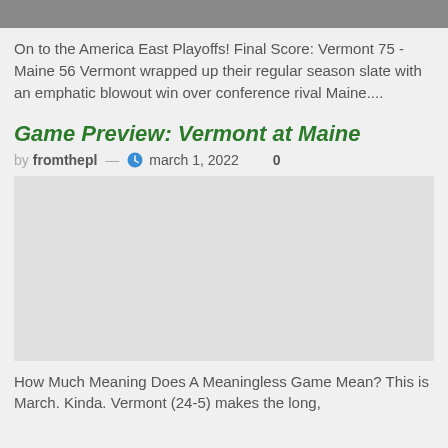[Figure (photo): Top cropped image, dark/sports themed]
On to the America East Playoffs! Final Score: Vermont 75 - Maine 56 Vermont wrapped up their regular season slate with an emphatic blowout win over conference rival Maine....
Game Preview: Vermont at Maine
by fromthepl — march 1, 2022  0
[Figure (photo): Gray image placeholder for game preview article]
How Much Meaning Does A Meaningless Game Mean? This is March. Kinda. Vermont (24-5) makes the long,